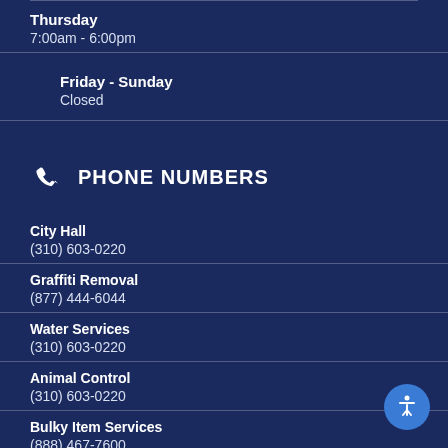Thursday
7:00am - 6:00pm
Friday - Sunday
Closed
PHONE NUMBERS
City Hall
(310) 603-0220
Graffiti Removal
(877) 444-6044
Water Services
(310) 603-0220
Animal Control
(310) 603-0220
Bulky Item Services
(888) 467-7600